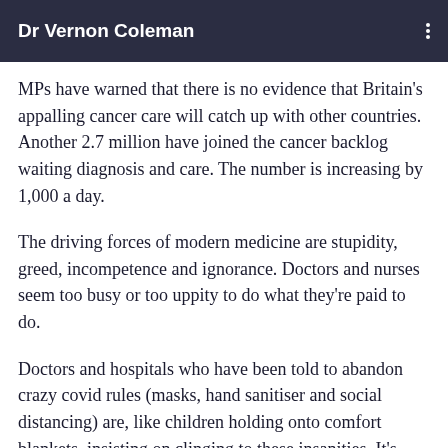Dr Vernon Coleman
MPs have warned that there is no evidence that Britain's appalling cancer care will catch up with other countries. Another 2.7 million have joined the cancer backlog waiting diagnosis and care. The number is increasing by 1,000 a day.
The driving forces of modern medicine are stupidity, greed, incompetence and ignorance. Doctors and nurses seem too busy or too uppity to do what they're paid to do.
Doctors and hospitals who have been told to abandon crazy covid rules (masks, hand sanitiser and social distancing) are, like children holding onto comfort blankets, insisting on clinging to these insanities. It's been proven that masks, sanitiser and social distancing did far more harm than good. But no one in health care